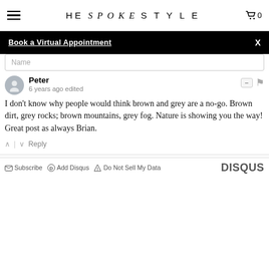HE spoke STYLE
Book a Virtual Appointment
Name
Peter
6 years ago edited
I don't know why people would think brown and grey are a no-go. Brown dirt, grey rocks; brown mountains, grey fog. Nature is showing you the way!
Great post as always Brian.
Reply
Subscribe   Add Disqus   Do Not Sell My Data   DISQUS